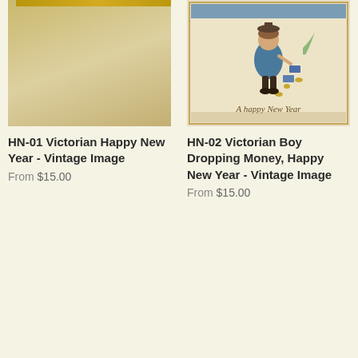[Figure (photo): Left product image: Victorian Happy New Year vintage image, shown partially with a golden/tan color bar at the top]
HN-01 Victorian Happy New Year - Vintage Image
From $15.00
[Figure (illustration): Right product image: Victorian illustration of a boy dropping money with 'A Happy New Year' text, vintage postcard style]
HN-02 Victorian Boy Dropping Money, Happy New Year - Vintage Image
From $15.00